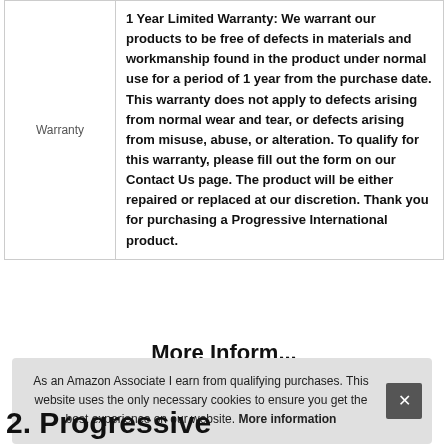| Warranty | Description |
| --- | --- |
| Warranty | 1 Year Limited Warranty: We warrant our products to be free of defects in materials and workmanship found in the product under normal use for a period of 1 year from the purchase date. This warranty does not apply to defects arising from normal wear and tear, or defects arising from misuse, abuse, or alteration. To qualify for this warranty, please fill out the form on our Contact Us page. The product will be either repaired or replaced at our discretion. Thank you for purchasing a Progressive International product. |
As an Amazon Associate I earn from qualifying purchases. This website uses the only necessary cookies to ensure you get the best experience on our website. More information
2. Progressive